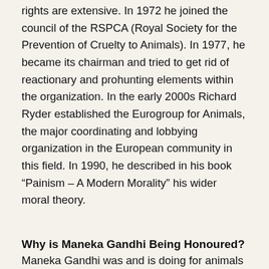rights are extensive. In 1972 he joined the council of the RSPCA (Royal Society for the Prevention of Cruelty to Animals). In 1977, he became its chairman and tried to get rid of reactionary and prohunting elements within the organization. In the early 2000s Richard Ryder established the Eurogroup for Animals, the major coordinating and lobbying organization in the European community in this field. In 1990, he described in his book “Painism – A Modern Morality” his wider moral theory.
Why is Maneka Gandhi Being Honoured?
Maneka Gandhi was and is doing for animals what Mahatma Gandhi did for the people of India.
She is the widow of Sanjay Gandhi, who was an